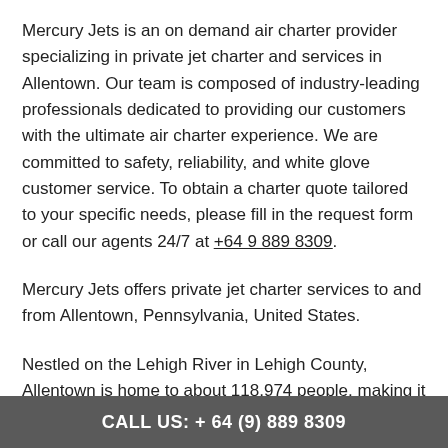Mercury Jets is an on demand air charter provider specializing in private jet charter and services in Allentown. Our team is composed of industry-leading professionals dedicated to providing our customers with the ultimate air charter experience. We are committed to safety, reliability, and white glove customer service. To obtain a charter quote tailored to your specific needs, please fill in the request form or call our agents 24/7 at +64 9 889 8309.
Mercury Jets offers private jet charter services to and from Allentown, Pennsylvania, United States.
Nestled on the Lehigh River in Lehigh County, Allentown is home to about 118,974 people, making it the third-largest city in Pennsylvania. Being the largest city in the Lehigh...
CALL US: + 64 (9) 889  8309